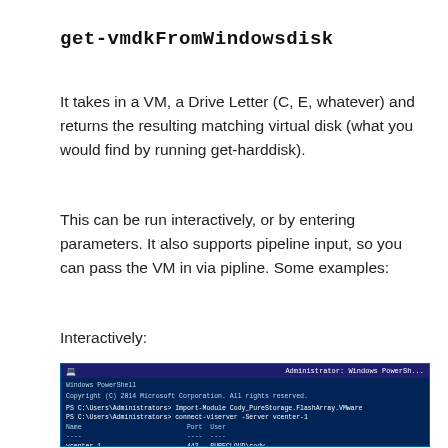get-vmdkFromWindowsdisk
It takes in a VM, a Drive Letter (C, E, whatever) and returns the resulting matching virtual disk (what you would find by running get-harddisk).
This can be run interactively, or by entering parameters. It also supports pipeline input, so you can pass the VM in via pipline. Some examples:
Interactively:
[Figure (screenshot): Windows PowerShell terminal screenshot showing interactive use of get-vmdkFromWindowsdisk command with connect-viserver, module import, and prompts for VM name and drive letter.]